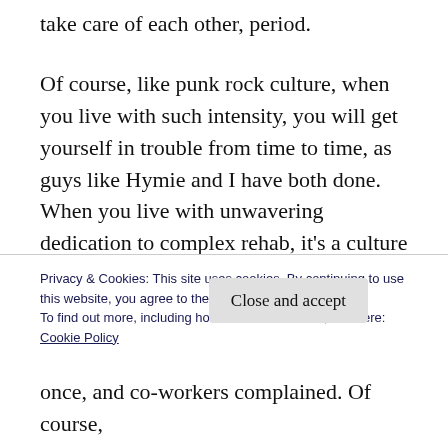take care of each other, period.
Of course, like punk rock culture, when you live with such intensity, you will get yourself in trouble from time to time, as guys like Hymie and I have both done. When you live with unwavering dedication to complex rehab, it’s a culture that others aren’t going to always understand – and you don’t have a lot of patience for that. It’s a lot like, OK, I get that you don’t get complex rehab, so how about you go
Privacy & Cookies: This site uses cookies. By continuing to use this website, you agree to their use.
To find out more, including how to control cookies, see here:
Cookie Policy
Close and accept
once, and co-workers complained. Of course,